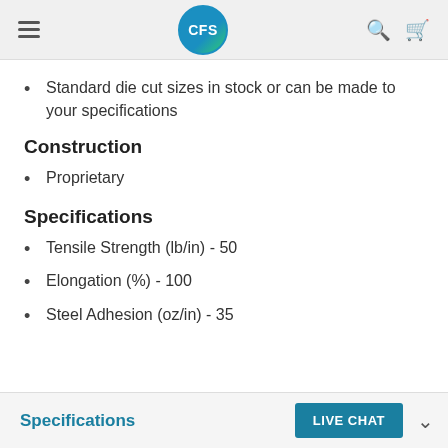CFS
Standard die cut sizes in stock or can be made to your specifications
Construction
Proprietary
Specifications
Tensile Strength (lb/in) - 50
Elongation (%) - 100
Steel Adhesion (oz/in) - 35
Specifications  LIVE CHAT